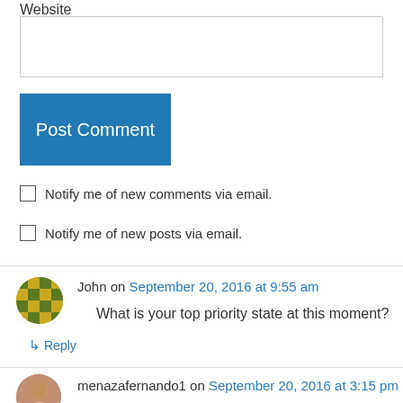Website
[Website input field]
Post Comment
Notify me of new comments via email.
Notify me of new posts via email.
John on September 20, 2016 at 9:55 am
What is your top priority state at this moment?
↳ Reply
menazafernando1 on September 20, 2016 at 3:15 pm